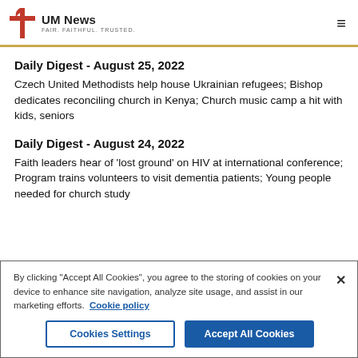UM News FAIR. FAITHFUL. TRUSTED.
Daily Digest - August 25, 2022
Czech United Methodists help house Ukrainian refugees; Bishop dedicates reconciling church in Kenya; Church music camp a hit with kids, seniors
Daily Digest - August 24, 2022
Faith leaders hear of 'lost ground' on HIV at international conference; Program trains volunteers to visit dementia patients; Young people needed for church study
By clicking "Accept All Cookies", you agree to the storing of cookies on your device to enhance site navigation, analyze site usage, and assist in our marketing efforts.  Cookie policy
Cookies Settings | Accept All Cookies